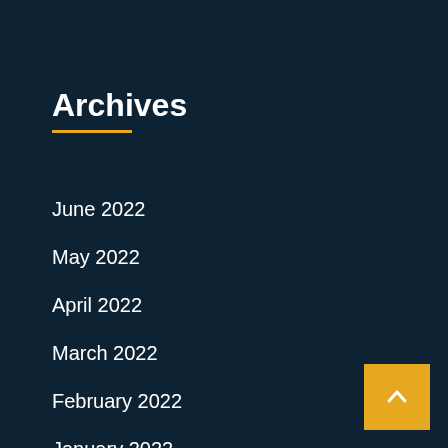Archives
June 2022
May 2022
April 2022
March 2022
February 2022
January 2022
December 2021
November 2021